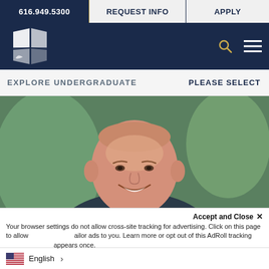616.949.5300 | REQUEST INFO | APPLY
[Figure (logo): Cornerstone University logo — white quadrant/leaf emblem on dark navy background]
EXPLORE UNDERGRADUATE
PLEASE SELECT
[Figure (photo): Professional portrait of a middle-aged bald man smiling, wearing a dark shirt and grey tie, with a blurred outdoor background]
Accept and Close ×
Your browser settings do not allow cross-site tracking for advertising. Click on this page to allow tailor ads to you. Learn more or opt out of this AdRoll tracking appears once.
English >